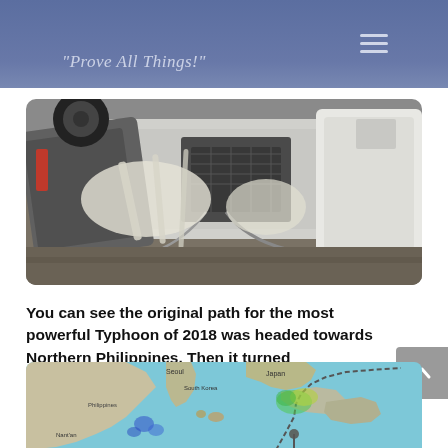"Prove All Things!"
[Figure (photo): Overturned/wrecked vehicles showing undercarriage, engine block, airbags deployed, crash debris]
You can see the original path for the most powerful Typhoon of 2018 was headed towards Northern Philippines. Then it turned
[Figure (map): Weather map showing typhoon path track near Japan/Philippines region with ocean in teal blue]